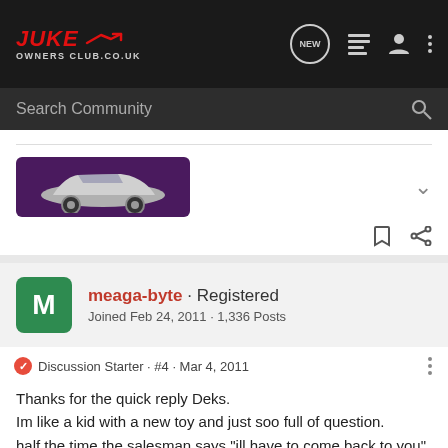JUKE OWNERS CLUB.CO.UK
Search Community
[Figure (photo): Car image thumbnail with purple background showing a silver sports car, likely a Nissan Juke concept]
meaga-byte · Registered
Joined Feb 24, 2011 · 1,336 Posts
Discussion Starter · #4 · Mar 4, 2011
Thanks for the quick reply Deks.
Im like a kid with a new toy and just soo full of question.
half the time the salesman says "ill have to come back to you"